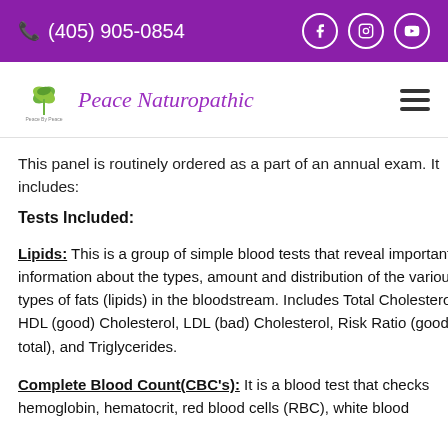(405) 905-0854
[Figure (logo): Peace Naturopathic logo with green leaf icon and purple italic text]
This panel is routinely ordered as a part of an annual exam. It includes:
Tests Included:
Lipids: This is a group of simple blood tests that reveal important information about the types, amount and distribution of the various types of fats (lipids) in the bloodstream. Includes Total Cholesterol, HDL (good) Cholesterol, LDL (bad) Cholesterol, Risk Ratio (good to total), and Triglycerides.
Complete Blood Count(CBC's): It is a blood test that checks hemoglobin, hematocrit, red blood cells (RBC), white blood